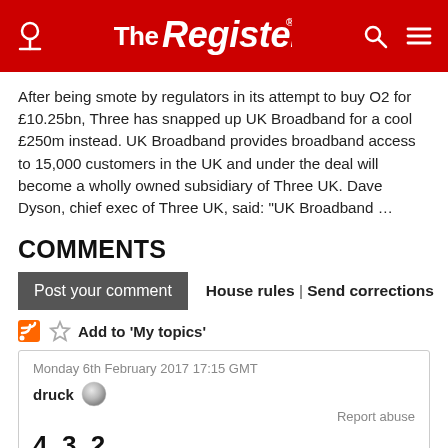The Register
After being smote by regulators in its attempt to buy O2 for £10.25bn, Three has snapped up UK Broadband for a cool £250m instead. UK Broadband provides broadband access to 15,000 customers in the UK and under the deal will become a wholly owned subsidiary of Three UK. Dave Dyson, chief exec of Three UK, said: "UK Broadband …
COMMENTS
Post your comment  House rules | Send corrections
Add to 'My topics'
Monday 6th February 2017 17:15 GMT
druck
Report abuse
4, 3, 2...
Well another couple years when Ofcom can't go running